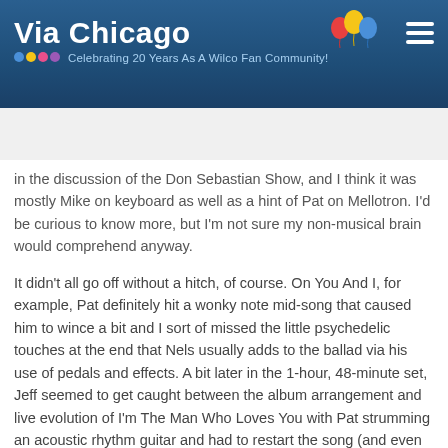Via Chicago — Celebrating 20 Years As A Wilco Fan Community!
After The Show
in the discussion of the Don Sebastian Show, and I think it was mostly Mike on keyboard as well as a hint of Pat on Mellotron. I'd be curious to know more, but I'm not sure my non-musical brain would comprehend anyway.
It didn't all go off without a hitch, of course. On You And I, for example, Pat definitely hit a wonky note mid-song that caused him to wince a bit and I sort of missed the little psychedelic touches at the end that Nels usually adds to the ballad via his use of pedals and effects. A bit later in the 1-hour, 48-minute set, Jeff seemed to get caught between the album arrangement and live evolution of I'm The Man Who Loves You with Pat strumming an acoustic rhythm guitar and had to restart the song (and even then I'm not sure Jeff entirely nailed the opening to his satisfaction). Actually, it might have been some of that veering between various arrangements of songs, in addition to adjusting to Nels' absence, that was to blame for any minor struggles.